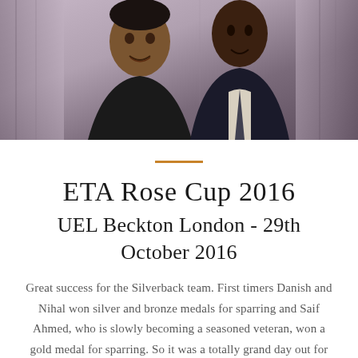[Figure (photo): Two men standing together and smiling, photographed against a curtained background. One man on the left wearing a dark top, one on the right wearing a dark suit with tie.]
ETA Rose Cup 2016
UEL Beckton London - 29th October 2016
Great success for the Silverback team. First timers Danish and Nihal won silver and bronze medals for sparring and Saif Ahmed, who is slowly becoming a seasoned veteran, won a gold medal for sparring. So it was a totally grand day out for the Silverback t...